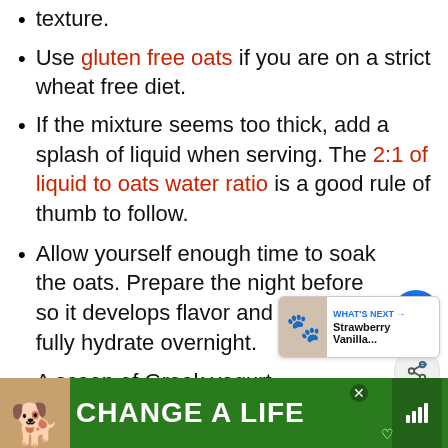texture.
Use gluten free oats if you are on a strict wheat free diet.
If the mixture seems too thick, add a splash of liquid when serving. The 2:1 of liquid to oats water ratio is a good rule of thumb to follow.
Allow yourself enough time to soak the oats. Prepare the night before so it develops flavor and the oats fully hydrate overnight.
A scoop of Greek yogurt will impart taste and also add more protein.
[Figure (screenshot): Advertisement banner at the bottom showing a dog and 'CHANGE A LIFE' text on green background]